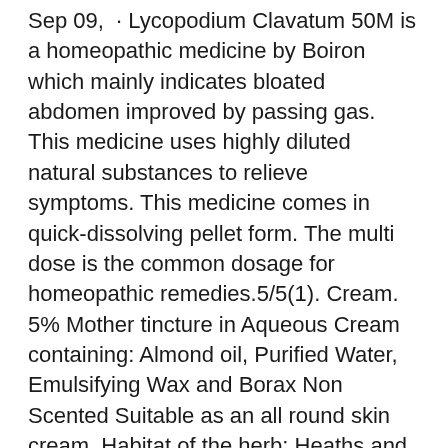Sep 09,  · Lycopodium Clavatum 50M is a homeopathic medicine by Boiron which mainly indicates bloated abdomen improved by passing gas. This medicine uses highly diluted natural substances to relieve symptoms. This medicine comes in quick-dissolving pellet form. The multi dose is the common dosage for homeopathic remedies.5/5(1). Cream. 5% Mother tincture in Aqueous Cream containing: Almond oil, Purified Water, Emulsifying Wax and Borax Non Scented Suitable as an all round skin cream. Habitat of the herb: Heaths and dry grassy places, usually on calcareous soils. Edible parts of Wild Basil: Edible leaves - used fresh or dried as a flavouring in cooked foods or fresh as a flavouring in salads. Buy Lycopodium clavatum LM online at an affordable price from Selectaherb. We offer